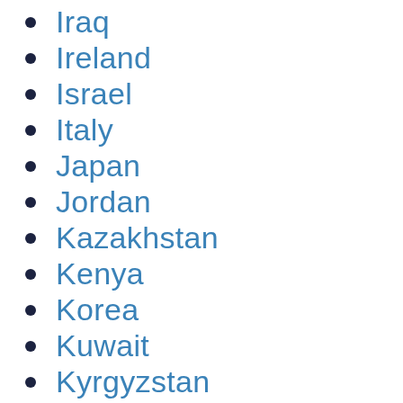Iraq
Ireland
Israel
Italy
Japan
Jordan
Kazakhstan
Kenya
Korea
Kuwait
Kyrgyzstan
Laos
Latvia